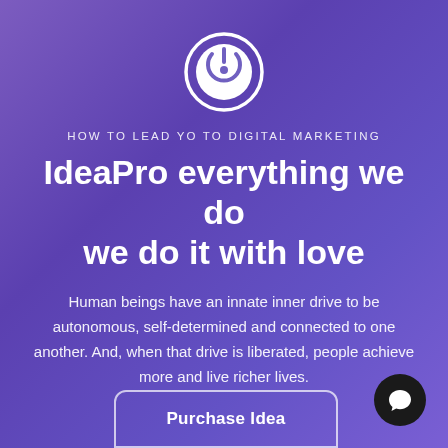[Figure (logo): White circular power/IdeaPro logo icon on purple gradient background]
HOW TO LEAD YO TO DIGITAL MARKETING
IdeaPro everything we do we do it with love
Human beings have an innate inner drive to be autonomous, self-determined and connected to one another. And, when that drive is liberated, people achieve more and live richer lives.
Purchase Idea